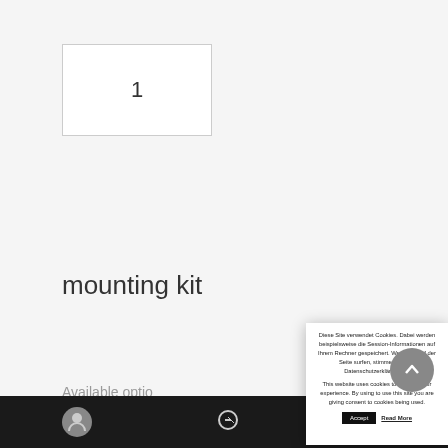1
mounting kit
Available optio...
Choose mount...
! moun...
1
[Figure (screenshot): Cookie consent modal overlay with German and English text, Accept button, and Read More link]
Diese Site verwendet Cookies. Dabei werden beispielsweise die Session-Informationen auf Ihrem Rechner gespeichert. Wenn Sie auf der Seite surfen, stimmen Sie der Datenschutzerklärung zu. This website uses cookies to improve your experience. By using to use this site you are giving consent to cookies being used.
Accept
Read More